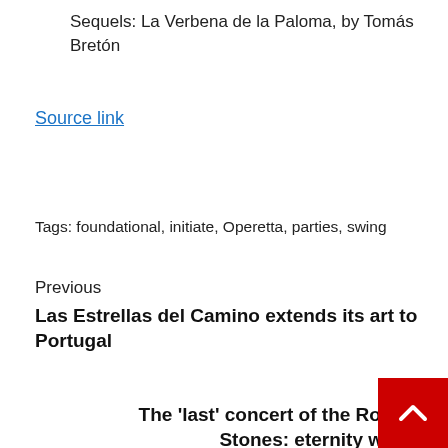Sequels: La Verbena de la Paloma, by Tomás Bretón
Source link
Tags: foundational, initiate, Operetta, parties, swing
Previous
Las Estrellas del Camino extends its art to Portugal
Next
The 'last' concert of the Rolling Stones: eternity was...